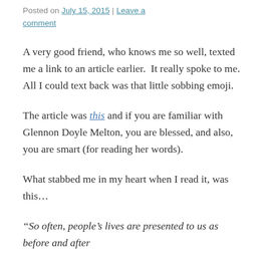Posted on July 15, 2015 | Leave a comment
A very good friend, who knows me so well, texted me a link to an article earlier.  It really spoke to me.  All I could text back was that little sobbing emoji.
The article was this and if you are familiar with Glennon Doyle Melton, you are blessed, and also, you are smart (for reading her words).
What stabbed me in my heart when I read it, was this…
“So often, people’s lives are presented to us as before and after